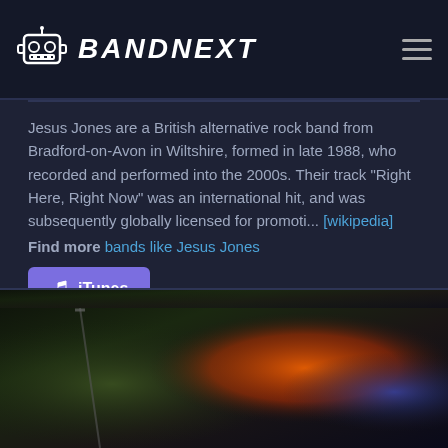BANDNEXT
Jesus Jones are a British alternative rock band from Bradford-on-Avon in Wiltshire, formed in late 1988, who recorded and performed into the 2000s. Their track "Right Here, Right Now" was an international hit, and was subsequently globally licensed for promoti... [wikipedia]
Find more bands like Jesus Jones
[Figure (other): iTunes button with music note icon]
[Figure (photo): Band performance photo showing musicians on stage with orange and blue lighting]